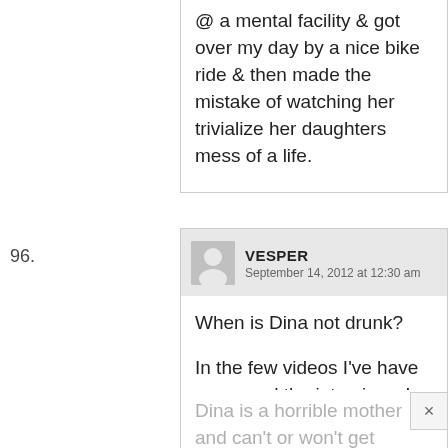@ a mental facility & got over my day by a nice bike ride & then made the mistake of watching her trivialize her daughters mess of a life.
96. VESPER September 14, 2012 at 12:30 am
When is Dina not drunk?

In the few videos I've have seen, and the interviews I have read, when Lindsay and her mother are together, it is Lindsay who is the mature one. In the first pic, it looks like Dina is wasted and hanging onto Lindsay for balance. Lindsay has a sad, almost hopeless look in her eyes. I'm sure she has been taking care of her mother since she was a child.
Dina is a horrible mother and can't or won't get herself together to take her